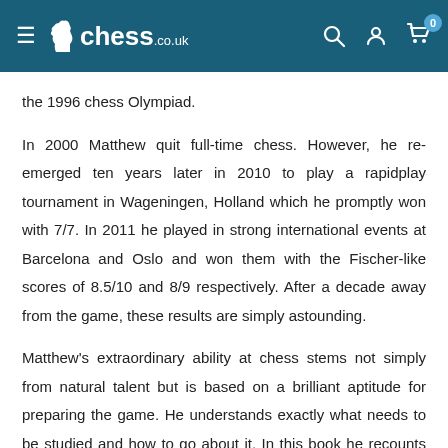chess.co.uk
the 1996 chess Olympiad.
In 2000 Matthew quit full-time chess. However, he re-emerged ten years later in 2010 to play a rapidplay tournament in Wageningen, Holland which he promptly won with 7/7. In 2011 he played in strong international events at Barcelona and Oslo and won them with the Fischer-like scores of 8.5/10 and 8/9 respectively. After a decade away from the game, these results are simply astounding.
Matthew's extraordinary ability at chess stems not simply from natural talent but is based on a brilliant aptitude for preparing the game. He understands exactly what needs to be studied and how to go about it. In this book he recounts how he organised the preparation for his 'comeback' and from his